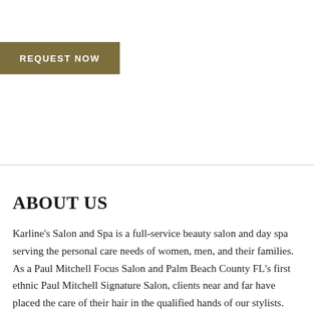REQUEST NOW
ABOUT US
Karline's Salon and Spa is a full-service beauty salon and day spa serving the personal care needs of women, men, and their families. As a Paul Mitchell Focus Salon and Palm Beach County FL's first ethnic Paul Mitchell Signature Salon, clients near and far have placed the care of their hair in the qualified hands of our stylists.